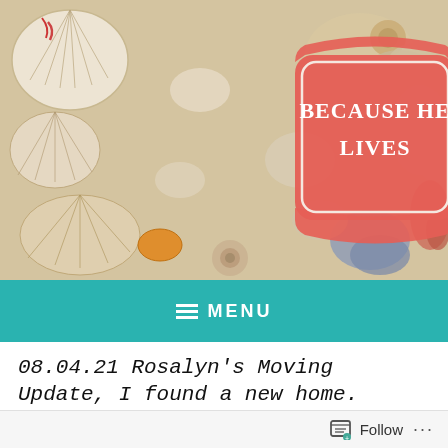[Figure (photo): Blog header image showing a collection of various seashells in different colors and sizes, with a coral/salmon colored badge in the center reading 'BECAUSE HE LIVES' in white text]
≡ MENU
08.04.21 Rosalyn's Moving Update, I found a new home.
August 5, 2021 · Rosalyn Chauvin
Follow ...